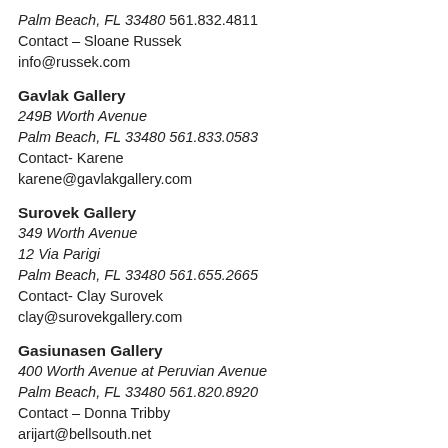Palm Beach, FL 33480 561.832.4811
Contact – Sloane Russek
info@russek.com
Gavlak Gallery
249B Worth Avenue
Palm Beach, FL 33480 561.833.0583
Contact- Karene
karene@gavlakgallery.com
Surovek Gallery
349 Worth Avenue
12 Via Parigi
Palm Beach, FL 33480 561.655.2665
Contact- Clay Surovek
clay@surovekgallery.com
Gasiunasen Gallery
400 Worth Avenue at Peruvian Avenue
Palm Beach, FL 33480 561.820.8920
Contact – Donna Tribby
arijart@bellsouth.net